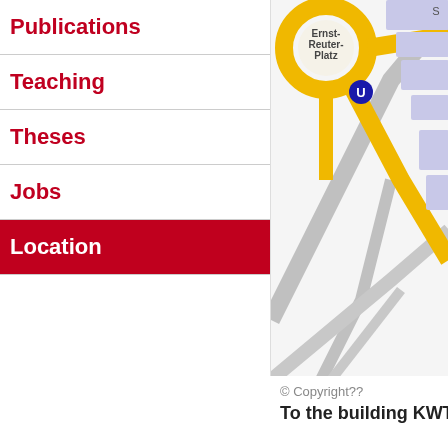Publications
Teaching
Theses
Jobs
Location
[Figure (map): Street map showing Ernst-Reuter-Platz area with U-Bahn station marker, yellow roads, and light purple buildings. Map is cropped showing the intersection/roundabout area.]
© Copyright??
To the building KWT-N